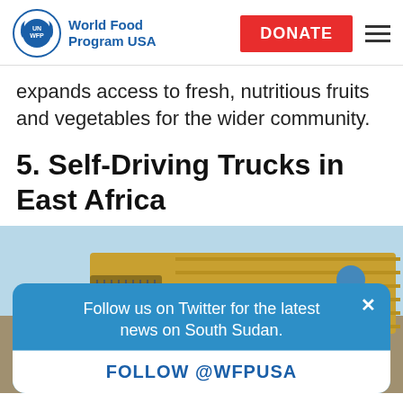UN WFP World Food Program USA | DONATE
expands access to fresh, nutritious fruits and vegetables for the wider community.
5. Self-Driving Trucks in East Africa
[Figure (photo): A yellow truck with a person wearing a blue helmet, in East Africa context]
Follow us on Twitter for the latest news on South Sudan.
FOLLOW @WFPUSA